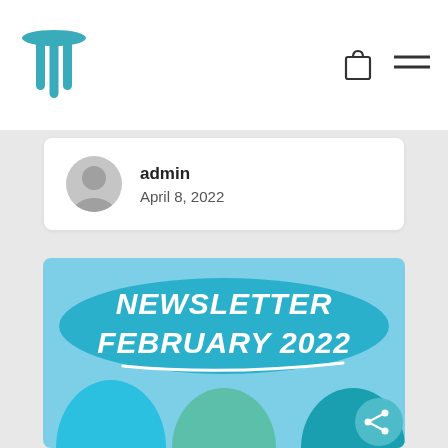Logo and navigation icons
admin
April 8, 2022
[Figure (illustration): Newsletter February 2022 banner image with teal/blue background and decorative arch shapes]